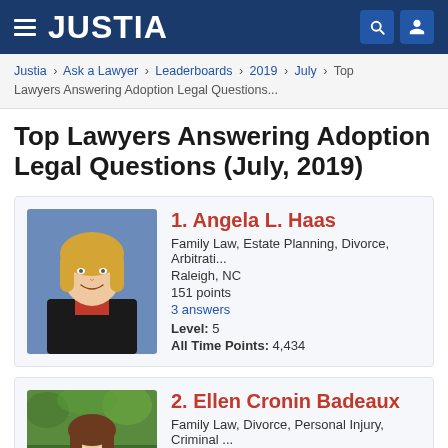JUSTIA
Justia › Ask a Lawyer › Leaderboards › 2019 › July › Top Lawyers Answering Adoption Legal Questions...
Top Lawyers Answering Adoption Legal Questions (July, 2019)
[Figure (photo): Photo of Angela L. Haas, a woman with blonde hair wearing a black jacket and red top, professional headshot]
1. Angela L. Haas
Family Law, Estate Planning, Divorce, Arbitrati...
Raleigh, NC
151 points
3 answers
Level: 5
All Time Points: 4,434
[Figure (photo): Photo of Ellen Cronin Badeaux, partial view showing a woman outdoors with greenery in background]
2. Ellen Cronin Badeaux
Family Law, Divorce, Personal Injury, Criminal ...